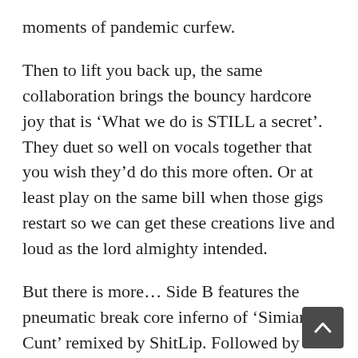moments of pandemic curfew.
Then to lift you back up, the same collaboration brings the bouncy hardcore joy that is ‘What we do is STILL a secret’. They duet so well on vocals together that you wish they’d do this more often. Or at least play on the same bill when those gigs restart so we can get these creations live and loud as the lord almighty intended.
But there is more… Side B features the pneumatic break core inferno of ‘Simian Cunt’ remixed by ShitLip. Followed by an exclusive bit of podcast by the late great and dearly missed anarchist thinker David Graeber. His eloquently delivered thoughts on employment chime perfectly with all those new realities thrown up by the never-ending virus and the present death of work as most of us previously